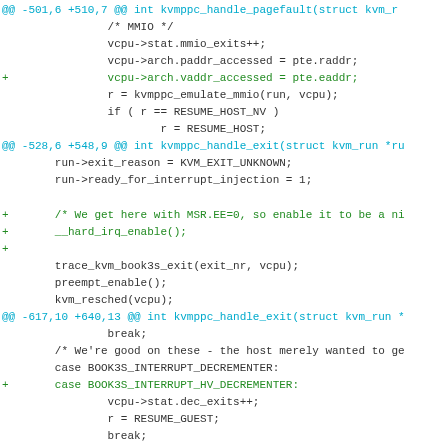Diff/patch code snippet showing kvmppc_handle_pagefault and kvmppc_handle_exit functions